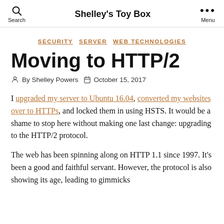Shelley's Toy Box
SECURITY  SERVER  WEB TECHNOLOGIES
Moving to HTTP/2
By Shelley Powers   October 15, 2017
I upgraded my server to Ubuntu 16.04, converted my websites over to HTTPs, and locked them in using HSTS. It would be a shame to stop here without making one last change: upgrading to the HTTP/2 protocol.
The web has been spinning along on HTTP 1.1 since 1997. It's been a good and faithful servant. However, the protocol is also showing its age, leading to gimmicks